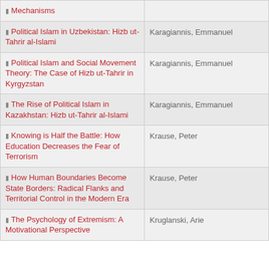| Title | Author |
| --- | --- |
| Mechanisms |  |
| Political Islam in Uzbekistan: Hizb ut-Tahrir al-Islami | Karagiannis, Emmanuel |
| Political Islam and Social Movement Theory: The Case of Hizb ut-Tahrir in Kyrgyzstan | Karagiannis, Emmanuel |
| The Rise of Political Islam in Kazakhstan: Hizb ut-Tahrir al-Islami | Karagiannis, Emmanuel |
| Knowing is Half the Battle: How Education Decreases the Fear of Terrorism | Krause, Peter |
| How Human Boundaries Become State Borders: Radical Flanks and Territorial Control in the Modern Era | Krause, Peter |
| The Psychology of Extremism: A Motivational Perspective | Kruglanski, Arie |